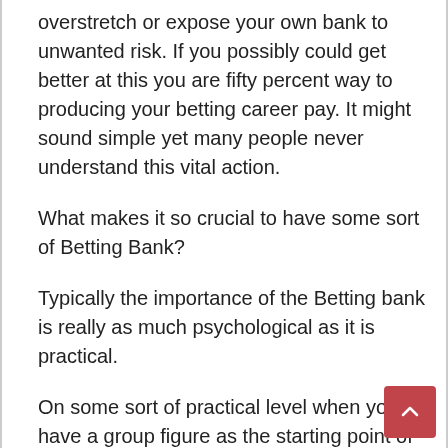overstretch or expose your own bank to unwanted risk. If you possibly could get better at this you are fifty percent way to producing your betting career pay. It might sound simple yet many people never understand this vital action.
What makes it so crucial to have some sort of Betting Bank?
Typically the importance of the Betting bank is really as much psychological as it is practical.
On some sort of practical level when you have a group figure as the starting point of the bank you could work out exactly how much to share on each bet. joker123 can also record and